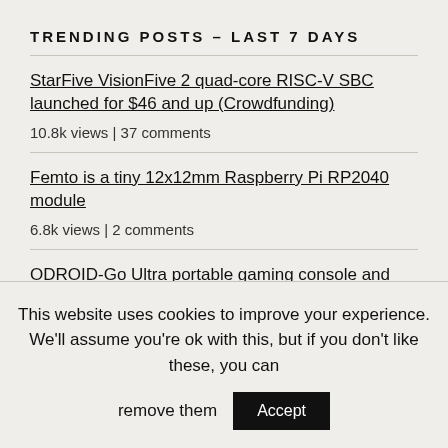TRENDING POSTS – LAST 7 DAYS
StarFive VisionFive 2 quad-core RISC-V SBC launched for $46 and up (Crowdfunding)
10.8k views | 37 comments
Femto is a tiny 12x12mm Raspberry Pi RP2040 module
6.8k views | 2 comments
ODROID-Go Ultra portable gaming console and devkit coming soon with Amlogic S922X SoC
4.7k views | 17 comments
This website uses cookies to improve your experience. We'll assume you're ok with this, but if you don't like these, you can remove them
Accept